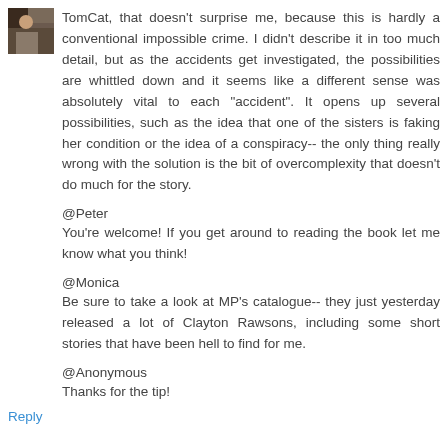[Figure (photo): Small avatar photo thumbnail, appears to be a person photo with dark tones]
TomCat, that doesn't surprise me, because this is hardly a conventional impossible crime. I didn't describe it in too much detail, but as the accidents get investigated, the possibilities are whittled down and it seems like a different sense was absolutely vital to each "accident". It opens up several possibilities, such as the idea that one of the sisters is faking her condition or the idea of a conspiracy-- the only thing really wrong with the solution is the bit of overcomplexity that doesn't do much for the story.
@Peter
You're welcome! If you get around to reading the book let me know what you think!
@Monica
Be sure to take a look at MP's catalogue-- they just yesterday released a lot of Clayton Rawsons, including some short stories that have been hell to find for me.
@Anonymous
Thanks for the tip!
Reply